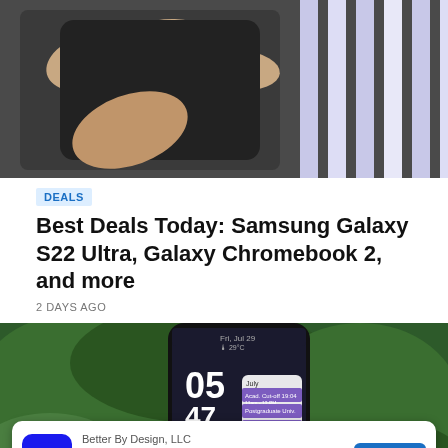[Figure (photo): Hands holding a dark smartphone against a blurred background with vertical purple/white bars]
DEALS
Best Deals Today: Samsung Galaxy S22 Ultra, Galaxy Chromebook 2, and more
2 DAYS AGO
[Figure (photo): Hand holding a Google Pixel smartphone showing home screen with calendar widgets, in front of green foliage background. Ad banner overlay at bottom: Better By Design, LLC — Remodel and Additions, OPEN button]
Better By Design, LLC
Remodel and Additions